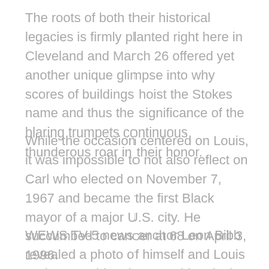The roots of both their historical legacies is firmly planted right here in Cleveland and March 26 offered yet another unique glimpse into why scores of buildings hoist the Stokes name and thus the significance of the blaring trumpets continuous thunderous roar in their honor.
While the occasion centered on Louis, it was impossible to not also reflect on Carl who elected on November 7, 1967 and became the first Black mayor of a major U.S. city. He succumbed to cancer at 68 on April 3, 1996.
WEWS TV-5 news anchor Leon Bibb revealed a photo of himself and Louis Stokes watching the 2022 historical...